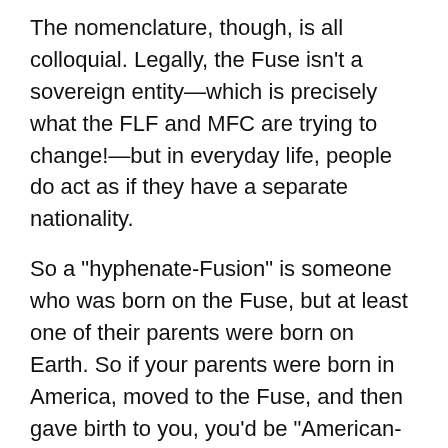The nomenclature, though, is all colloquial. Legally, the Fuse isn't a sovereign entity—which is precisely what the FLF and MFC are trying to change!—but in everyday life, people do act as if they have a separate nationality.
So a "hyphenate-Fusion" is someone who was born on the Fuse, but at least one of their parents were born on Earth. So if your parents were born in America, moved to the Fuse, and then gave birth to you, you'd be "American-Fusion". If you then married someone originally born in France, and had a child, that child would be "Franco-American-Fusion".
But "Full Fusion" is the rare name given to someone who was born on the Fuse, to parents who were both also born there. So if your Franco-American-Fusion child grew up to marry a